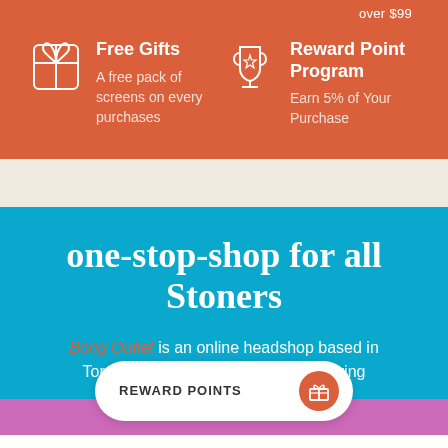over $99
Free Gifts
A free pack of screens on every purchases
Reward Point Program
Earn 5% of Your Purchase
one-stop-shop for all Stoners
Bong Outlet is an online headshop based in Toronto, Canada dedicated to delivering bongs, pipes, and deals. We have a huge
REWARD POINTS